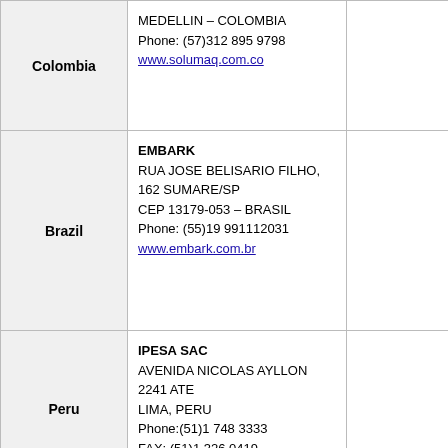| Country | Details |  |
| --- | --- | --- |
| Colombia | MEDELLIN – COLOMBIA
Phone: (57)312 895 9798
www.solumaq.com.co |  |
| Brazil | EMBARK
RUA JOSE BELISARIO FILHO, 162 SUMARE/SP
CEP 13179-053 – BRASIL
Phone: (55)19 991112031
www.embark.com.br |  |
| Peru | IPESA SAC
AVENIDA NICOLAS AYLLON 2241  ATE
LIMA, PERU
Phone:(51)1 748 3333
FAX: (51)1 326 0419
www.ipesa.com.pe |  |